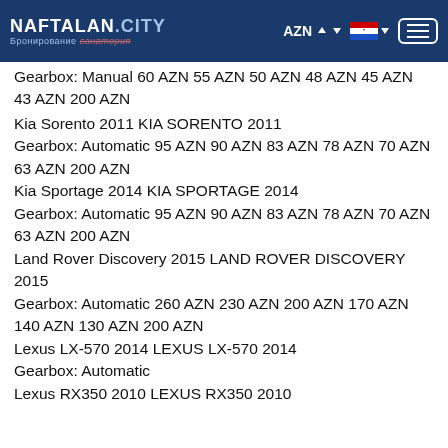NAFTALAN.CITY Бронирование санатория | AZN | [flag] | [menu]
Gearbox: Manual 60 AZN 55 AZN 50 AZN 48 AZN 45 AZN 43 AZN 200 AZN
Kia Sorento 2011 KIA SORENTO 2011
Gearbox: Automatic 95 AZN 90 AZN 83 AZN 78 AZN 70 AZN 63 AZN 200 AZN
Kia Sportage 2014 KIA SPORTAGE 2014
Gearbox: Automatic 95 AZN 90 AZN 83 AZN 78 AZN 70 AZN 63 AZN 200 AZN
Land Rover Discovery 2015 LAND ROVER DISCOVERY 2015
Gearbox: Automatic 260 AZN 230 AZN 200 AZN 170 AZN 140 AZN 130 AZN 200 AZN
Lexus LX-570 2014 LEXUS LX-570 2014
Gearbox: Automatic
Lexus RX350 2010 LEXUS RX350 2010